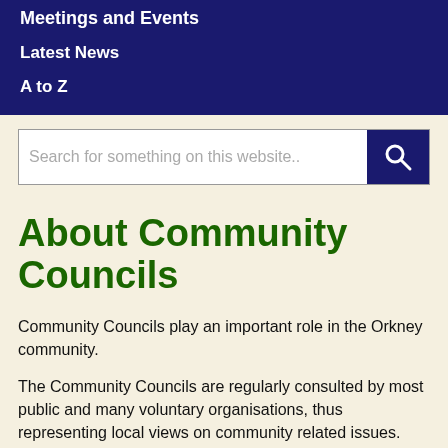Meetings and Events
Latest News
A to Z
Search for something on this website..
About Community Councils
Community Councils play an important role in the Orkney community.
The Community Councils are regularly consulted by most public and many voluntary organisations, thus representing local views on community related issues.
Each Community Council meets approximately every 6-8